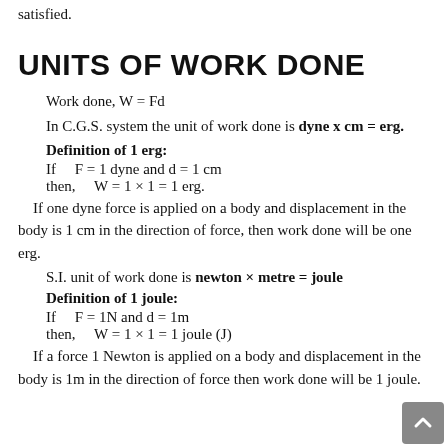satisfied.
UNITS OF WORK DONE
Work done, W = Fd
In C.G.S. system the unit of work done is dyne x cm = erg.
Definition of 1 erg:
If    F = 1 dyne and d = 1 cm
then,      W = 1 × 1 = 1 erg.
If one dyne force is applied on a body and displacement in the body is 1 cm in the direction of force, then work done will be one erg.
S.I. unit of work done is newton × metre = joule
Definition of 1 joule:
If    F = 1N and d = 1m
then,      W = 1 × 1 = 1 joule (J)
If a force 1 Newton is applied on a body and displacement in the body is 1m in the direction of force then work done will be 1 joule.